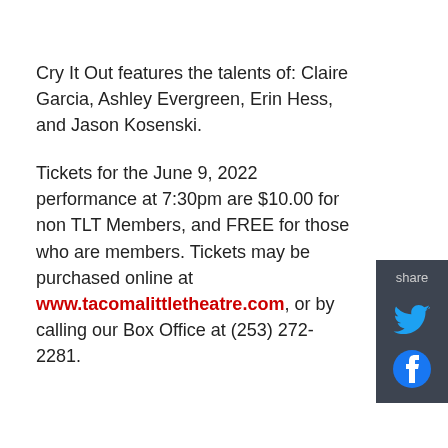Cry It Out features the talents of: Claire Garcia, Ashley Evergreen, Erin Hess, and Jason Kosenski.
Tickets for the June 9, 2022 performance at 7:30pm are $10.00 for non TLT Members, and FREE for those who are members. Tickets may be purchased online at www.tacomalittletheatre.com, or by calling our Box Office at (253) 272-2281.
[Figure (infographic): Dark gray sidebar panel with 'share' label, a Twitter bird icon, and a Facebook circle icon]